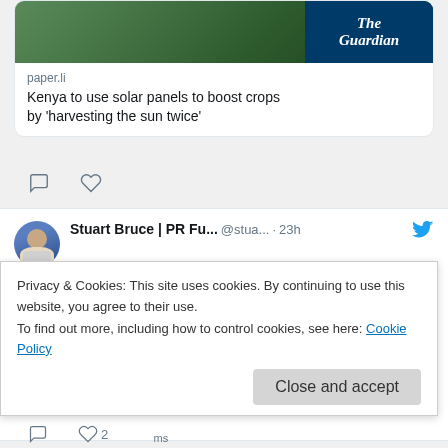[Figure (screenshot): Tweet card showing Guardian article link preview with photo of plants and Guardian logo. Source shown as paper.li. Article title: Kenya to use solar panels to boost crops by 'harvesting the sun twice']
[Figure (screenshot): Tweet by Stuart Bruce | PR Fu... @stua... 23h with Twitter bird icon. Text: pointing finger 100 emoji Putin invaded because we let him invade Crimea. The only peaceful end is his complete and utter destruction. Ukraine flag, UK flag, flexed bicep emoji. Quoted tweet from Михайло @Podol Aug 18]
Privacy & Cookies: This site uses cookies. By continuing to use this website, you agree to their use.
To find out more, including how to control cookies, see here: Cookie Policy
Close and accept